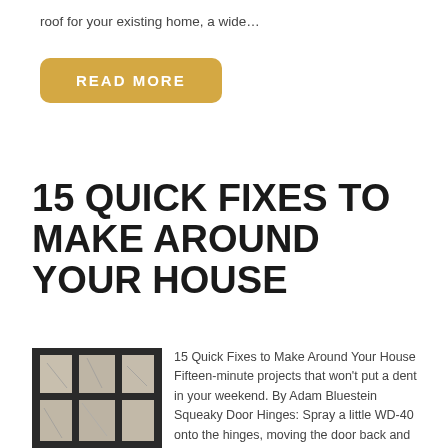roof for your existing home, a wide…
[Figure (other): READ MORE button with golden/yellow rounded rectangle background]
15 QUICK FIXES TO MAKE AROUND YOUR HOUSE
[Figure (photo): Photo of cracked pavement or damaged flooring viewed through a window frame or metal bars]
15 Quick Fixes to Make Around Your House Fifteen-minute projects that won't put a dent in your weekend. By Adam Bluestein Squeaky Door Hinges: Spray a little WD-40 onto the hinges, moving the door back and forth to work in the lubricant. Or try rubbing the hinges with